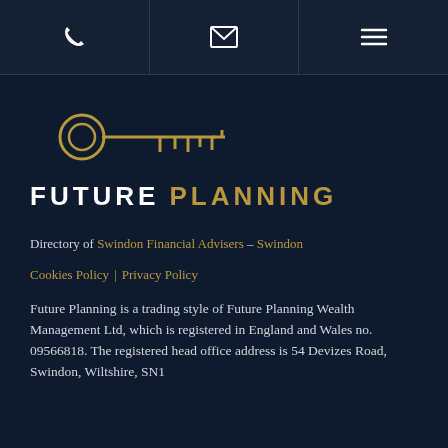Phone | Email | Menu navigation bar
[Figure (logo): Future Planning logo — golden key icon above the text FUTURE PLANNING in white and gold uppercase letters]
Directory of Swindon Financial Advisers – Swindon
Cookies Policy | Privacy Policy
Future Planning is a trading style of Future Planning Wealth Management Ltd, which is registered in England and Wales no. 09566818. The registered head office address is 54 Devizes Road, Swindon, Wiltshire, SN1